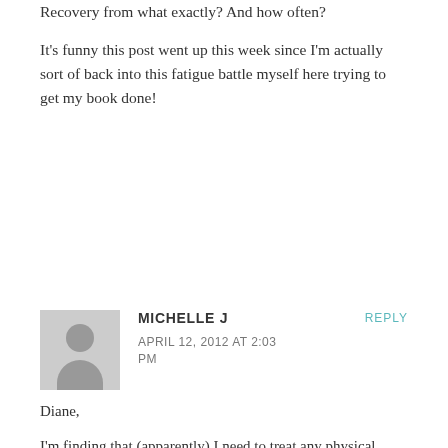Recovery from what exactly? And how often?

It's funny this post went up this week since I'm actually sort of back into this fatigue battle myself here trying to get my book done!
MICHELLE J
APRIL 12, 2012 AT 2:03 PM
Diane,

I'm finding that (apparently) I need to treat any physical treatment